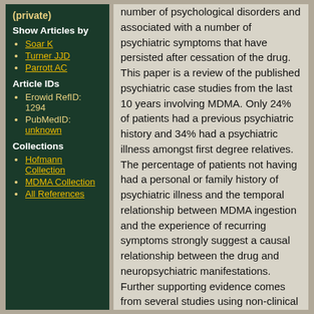(private)
Show Articles by
Soar K
Turner JJD
Parrott AC
Article IDs
Erowid RefID: 1294
PubMedID: unknown
Collections
Hofmann Collection
MDMA Collection
All References
number of psychological disorders and associated with a number of psychiatric symptoms that have persisted after cessation of the drug. This paper is a review of the published psychiatric case studies from the last 10 years involving MDMA. Only 24% of patients had a previous psychiatric history and 34% had a psychiatric illness amongst first degree relatives. The percentage of patients not having had a personal or family history of psychiatric illness and the temporal relationship between MDMA ingestion and the experience of recurring symptoms strongly suggest a causal relationship between the drug and neuropsychiatric manifestations. Further supporting evidence comes from several studies using non-clinical samples. Ecstasy users that don't present themselves in healthcare settings as having clinical symptoms have significantly higher scores on certain subscales of the SCL-90 compared with Ecstasy-naive...